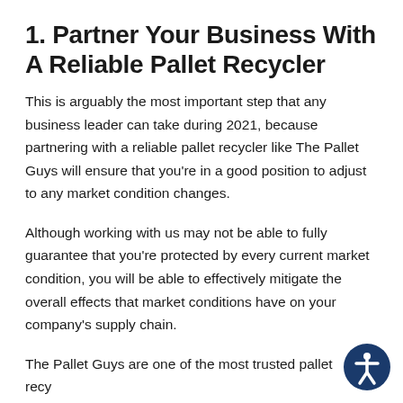1. Partner Your Business With A Reliable Pallet Recycler
This is arguably the most important step that any business leader can take during 2021, because partnering with a reliable pallet recycler like The Pallet Guys will ensure that you're in a good position to adjust to any market condition changes.
Although working with us may not be able to fully guarantee that you're protected by every current market condition, you will be able to effectively mitigate the overall effects that market conditions have on your company's supply chain.
The Pallet Guys are one of the most trusted pallet recyclers in the entire United States, and our commitment to customer